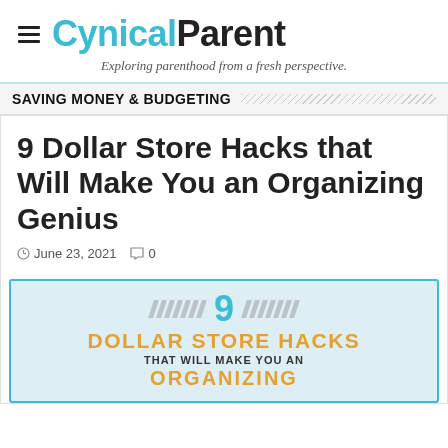CynicalParent — Exploring parenthood from a fresh perspective.
SAVING MONEY & BUDGETING
9 Dollar Store Hacks that Will Make You an Organizing Genius
June 23, 2021  0
[Figure (infographic): Infographic preview showing '9 Dollar Store Hacks that Will Make You an Organizing Genius' with decorative slash marks, large '9' in teal, gold text and partial bottom text cut off]